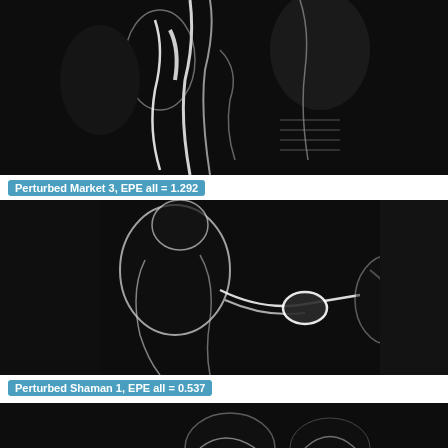[Figure (photo): Grayscale image showing perturbed optical flow visualization for Market 3 scene — dark background with bright white streaks and edge highlights showing figures and objects.]
Perturbed Market 3, EPE all = 1.292
[Figure (photo): Grayscale image showing perturbed optical flow visualization for Shaman 1 scene — dark background with white outlined figures appearing to shake hands or interact.]
Perturbed Shaman 1, EPE all = 0.537
[Figure (photo): Grayscale image showing bottom portion of another perturbed optical flow visualization — dark image with faint white outlines of figures visible at top of crop.]